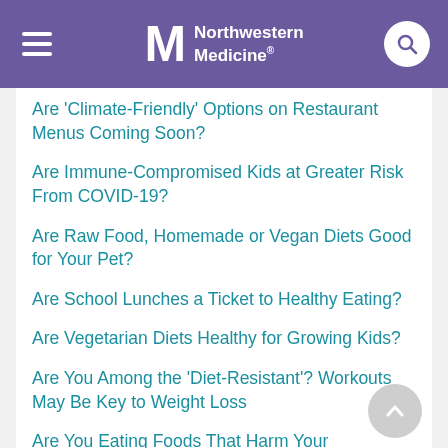Northwestern Medicine
Are 'Climate-Friendly' Options on Restaurant Menus Coming Soon?
Are Immune-Compromised Kids at Greater Risk From COVID-19?
Are Raw Food, Homemade or Vegan Diets Good for Your Pet?
Are School Lunches a Ticket to Healthy Eating?
Are Vegetarian Diets Healthy for Growing Kids?
Are You Among the 'Diet-Resistant'? Workouts May Be Key to Weight Loss
Are You Eating Foods That Harm Your 'Microbiome'?
'Artificial Pancreas' Can Help Kids With Type 1